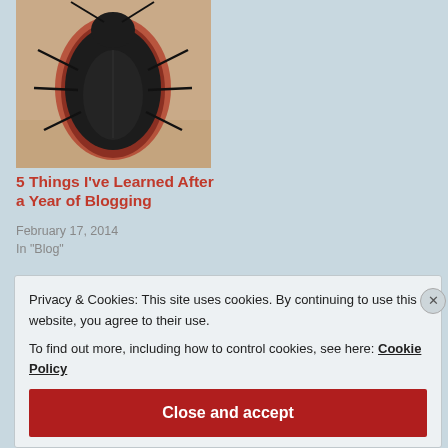[Figure (photo): Close-up photograph of a black and red stink bug or similar insect viewed from above on a sandy/beige surface]
5 Things I've Learned After a Year of Blogging
February 17, 2014
In "Blog"
Privacy & Cookies: This site uses cookies. By continuing to use this website, you agree to their use.
To find out more, including how to control cookies, see here: Cookie Policy
Close and accept